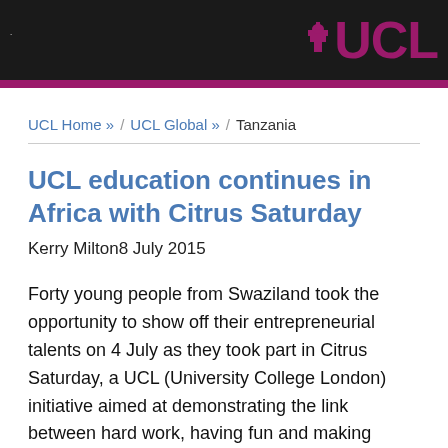UCL
UCL Home » / UCL Global » / Tanzania
UCL education continues in Africa with Citrus Saturday
Kerry Milton8 July 2015
Forty young people from Swaziland took the opportunity to show off their entrepreneurial talents on 4 July as they took part in Citrus Saturday, a UCL (University College London) initiative aimed at demonstrating the link between hard work, having fun and making money. Pupils from four schools in Mbabane and Manzini became entrepreneurs for a day, making and selling